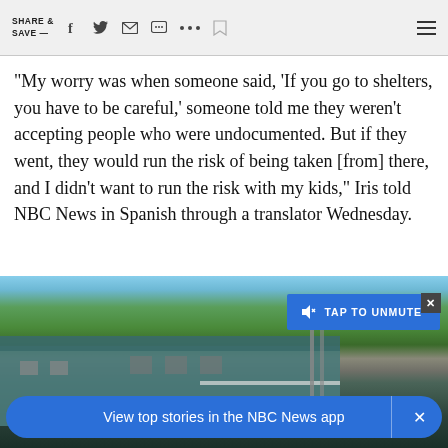SHARE & SAVE —
"My worry was when someone said, 'If you go to shelters, you have to be careful,' someone told me they weren't accepting people who were undocumented. But if they went, they would run the risk of being taken [from] there, and I didn't want to run the risk with my kids," Iris told NBC News in Spanish through a translator Wednesday.
[Figure (photo): Photo of a mobile home or small residential building exterior with trees in background, with a 'TAP TO UNMUTE' video overlay button and close button]
View top stories in the NBC News app